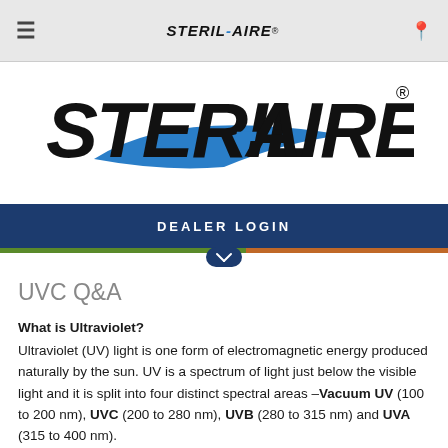≡   STERIL-AIRE   📍
[Figure (logo): Steril-Aire logo — large italic bold black text 'STERIL-AIRE' with a blue swoosh/dash element and registered trademark symbol]
DEALER LOGIN
UVC Q&A
What is Ultraviolet?
Ultraviolet (UV) light is one form of electromagnetic energy produced naturally by the sun. UV is a spectrum of light just below the visible light and it is split into four distinct spectral areas –Vacuum UV (100 to 200 nm), UVC (200 to 280 nm), UVB (280 to 315 nm) and UVA (315 to 400 nm).